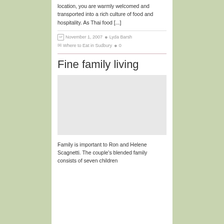location, you are warmly welcomed and transported into a rich culture of food and hospitality. As Thai food [...]
November 1, 2007  Lyda Barsh  Where to Eat in Sudbury  0
Fine family living
[Figure (photo): Image placeholder area for Fine family living article]
Family is important to Ron and Helene Scagnetti. The couple's blended family consists of seven children